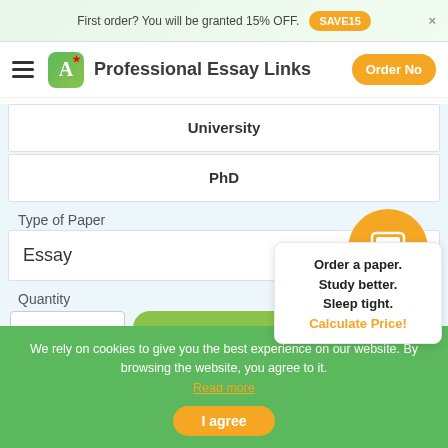First order? You will be granted 15% OFF. SAVE15 ×
Professional Essay Links
University
PhD
Type of Paper
Essay
Order a paper. Study better. Sleep tight. Calculate Price!
Quantity
We rely on cookies to give you the best experience on our website. By browsing the website, you agree to it. Read more
I agree